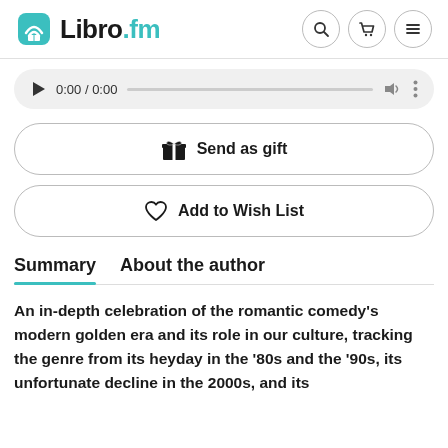Libro.fm
[Figure (screenshot): Audio player bar showing play button, 0:00 / 0:00 timestamp, progress track, volume icon, and options menu]
Send as gift
Add to Wish List
Summary   About the author
An in-depth celebration of the romantic comedy's modern golden era and its role in our culture, tracking the genre from its heyday in the '80s and the '90s, its unfortunate decline in the 2000s, and its